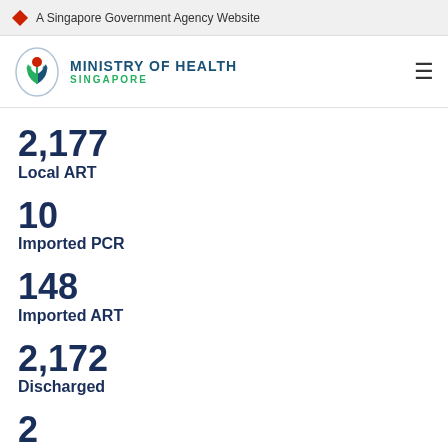A Singapore Government Agency Website
[Figure (logo): Ministry of Health Singapore logo with stylized flower/plant emblem]
2,177
Local ART
10
Imported PCR
148
Imported ART
2,172
Discharged
2
Died
[Figure (illustration): Yellow smiley face emoji icon]
Week on Week Infection Ratio